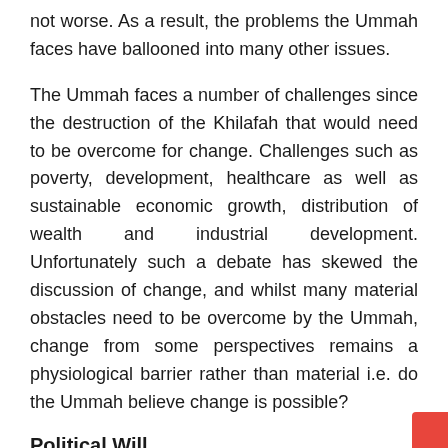not worse. As a result, the problems the Ummah faces have ballooned into many other issues.
The Ummah faces a number of challenges since the destruction of the Khilafah that would need to be overcome for change. Challenges such as poverty, development, healthcare as well as sustainable economic growth, distribution of wealth and industrial development. Unfortunately such a debate has skewed the discussion of change, and whilst many material obstacles need to be overcome by the Ummah, change from some perspectives remains a physiological barrier rather than material i.e. do the Ummah believe change is possible?
Political Will